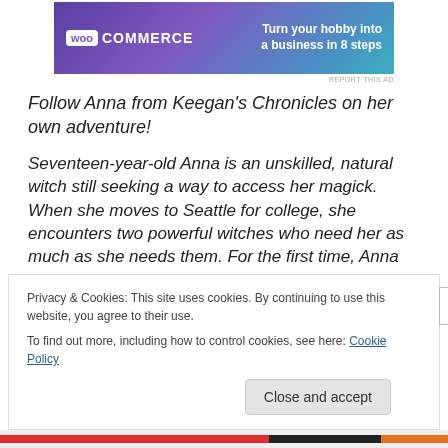[Figure (other): WooCommerce advertisement banner: purple/teal gradient background with WooCommerce logo and text 'Turn your hobby into a business in 8 steps']
Follow Anna from Keegan's Chronicles on her own adventure!
Seventeen-year-old Anna is an unskilled, natural witch still seeking a way to access her magick. When she moves to Seattle for college, she encounters two powerful witches who need her as much as she needs them. For the first time, Anna believes she's found someone who can help her explore her own magick.
Privacy & Cookies: This site uses cookies. By continuing to use this website, you agree to their use.
To find out more, including how to control cookies, see here: Cookie Policy